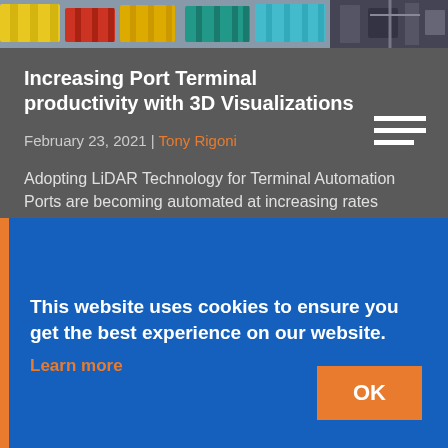[Figure (photo): Top strip photo showing colorful shipping containers in yellow, red, blue, teal and machinery]
Increasing Port Terminal productivity with 3D Visualizations
February 23, 2021 | Tony Rigoni
Adopting LiDAR Technology for Terminal Automation Ports are becoming automated at increasing rates around the world. According to McKinsey&Co., 80% of
This website uses cookies to ensure you get the best experience on our website. Learn more